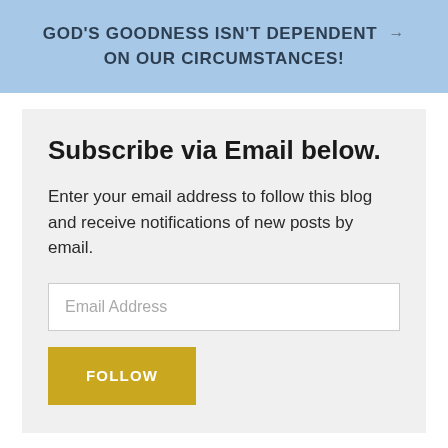GOD'S GOODNESS ISN'T DEPENDENT ON OUR CIRCUMSTANCES!
Subscribe via Email below.
Enter your email address to follow this blog and receive notifications of new posts by email.